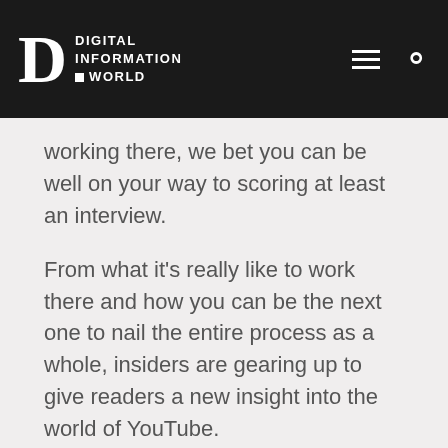DIGITAL INFORMATION WORLD
working there, we bet you can be well on your way to scoring at least an interview.
From what it's really like to work there and how you can be the next one to nail the entire process as a whole, insiders are gearing up to give readers a new insight into the world of YouTube.
Thankfully, YouTube is nice enough to still be hiring while other leading companies such as Facebook are taking a back seat and steering clear of the process as a whole.
With many rules at stake and a firm that loves to take a more open-minded approach in terms of growth, we're seeing a lot of changes occur. And the best bit is that the